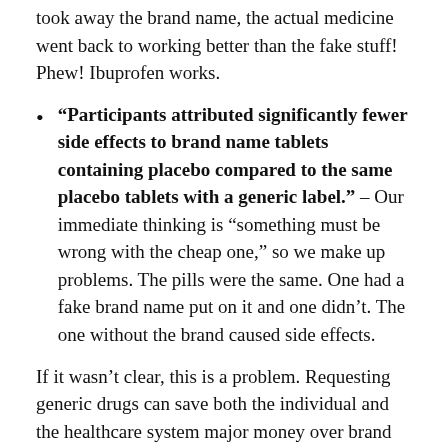took away the brand name, the actual medicine went back to working better than the fake stuff! Phew! Ibuprofen works.
“Participants attributed significantly fewer side effects to brand name tablets containing placebo compared to the same placebo tablets with a generic label.” – Our immediate thinking is “something must be wrong with the cheap one,” so we make up problems. The pills were the same. One had a fake brand name put on it and one didn’t. The one without the brand caused side effects.
If it wasn’t clear, this is a problem. Requesting generic drugs can save both the individual and the healthcare system major money over brand name drugs. But it seems we’re fighting a losing battle. If we can’t get